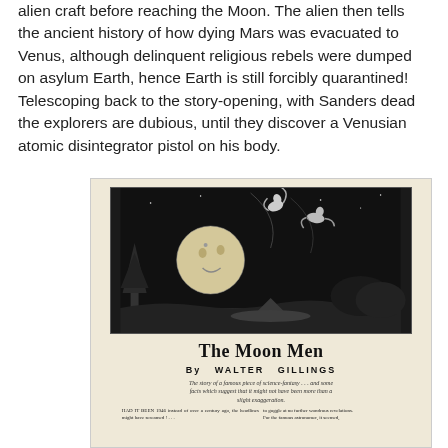alien craft before reaching the Moon. The alien then tells the ancient history of how dying Mars was evacuated to Venus, although delinquent religious rebels were dumped on asylum Earth, hence Earth is still forcibly quarantined! Telescoping back to the story-opening, with Sanders dead the explorers are dubious, until they discover a Venusian atomic disintegrator pistol on his body.
[Figure (illustration): Scanned magazine page showing 'The Moon Men' by Walter Gillings. Features a black and white illustration of figures flying through a night sky with a crescent moon, trees and landscape below. Below the illustration is the title 'The Moon Men' in bold serif font, author credit 'By WALTER GILLINGS', an italic tagline about science-fantasy, and the beginning of the article text.]